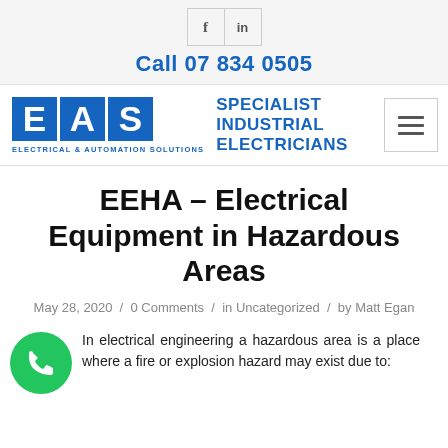Call 07 834 0505
[Figure (logo): EAS Electrical & Automation Solutions logo with 'SPECIALIST INDUSTRIAL ELECTRICIANS' text and hamburger menu icon]
EEHA – Electrical Equipment in Hazardous Areas
May 28, 2020 / 0 Comments / in Uncategorized / by Matt Egan
In electrical engineering a hazardous area is a place where a fire or explosion hazard may exist due to: